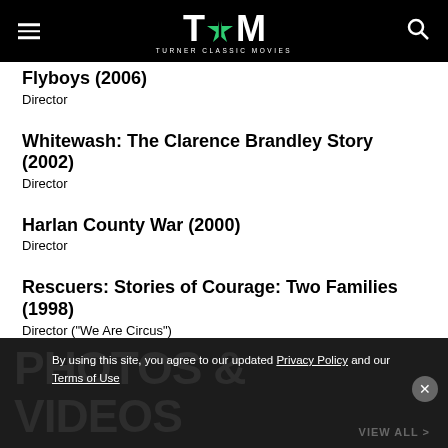TCM TURNER CLASSIC MOVIES
Flyboys (2006)
Director
Whitewash: The Clarence Brandley Story (2002)
Director
Harlan County War (2000)
Director
Rescuers: Stories of Courage: Two Families (1998)
Director ("We Are Circus")
A Chance of Snow (1998)
Director
PHOTOS & VIDEOS VIEW ALL
By using this site, you agree to our updated Privacy Policy and our Terms of Use